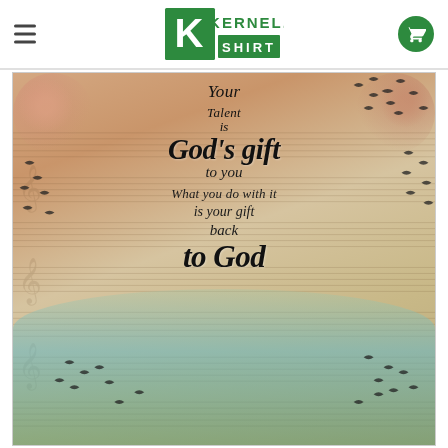Kernel Shirt — website header with hamburger menu and cart icon
[Figure (illustration): Decorative motivational poster with calligraphic text reading: 'Your Talent is God's gift to you. What you do with it is your gift back to God.' Background features vintage sheet music, floral patterns, birds in flight, and a globe illustration in soft earth tones.]